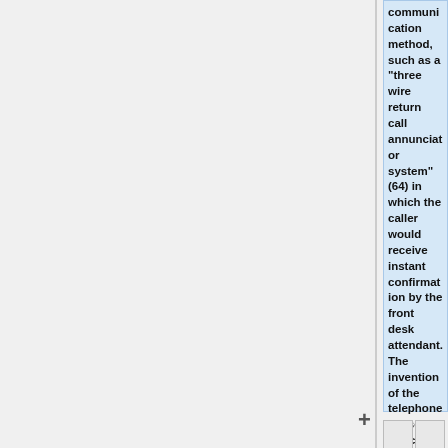communication method, such as a "three wire return call annunciator system" (64) in which the caller would receive instant confirmation by the front desk attendant. The invention of the telephone caused a critical change to the hotel hospitality industry. The telephone became the replacement of these hotel annunicators as the way to contact hotel staff for room service.